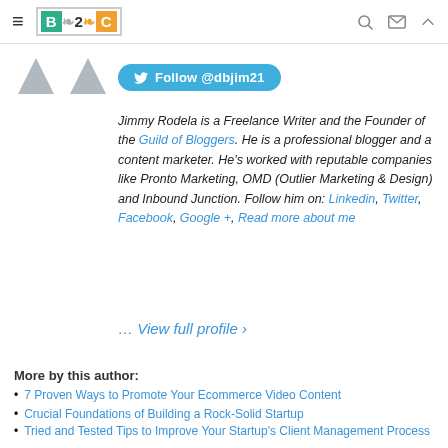B2C logo header with hamburger menu and icons
[Figure (illustration): Two gray placeholder avatar icons side by side]
Follow @dbjim21
Jimmy Rodela is a Freelance Writer and the Founder of the Guild of Bloggers. He is a professional blogger and a content marketer. He's worked with reputable companies like Pronto Marketing, OMD (Outlier Marketing & Design) and Inbound Junction. Follow him on: Linkedin, Twitter, Facebook, Google +, Read more about me
… View full profile ›
More by this author:
7 Proven Ways to Promote Your Ecommerce Video Content
Crucial Foundations of Building a Rock-Solid Startup
Tried and Tested Tips to Improve Your Startup's Client Management Process